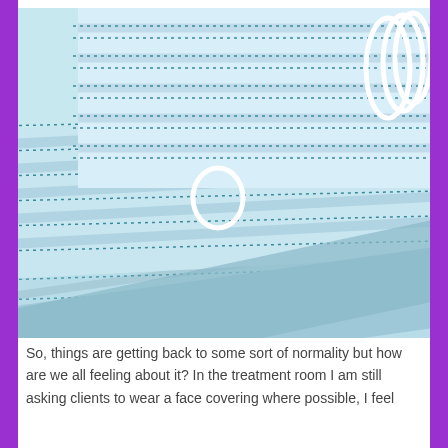[Figure (photo): Close-up photograph of multiple light blue surgical/disposable face masks stacked on top of each other, showing the pleated texture and teal stitched dotted lines, with white elastic ear loops visible.]
So, things are getting back to some sort of normality but how are we all feeling about it? In the treatment room I am still asking clients to wear a face covering where possible, I feel